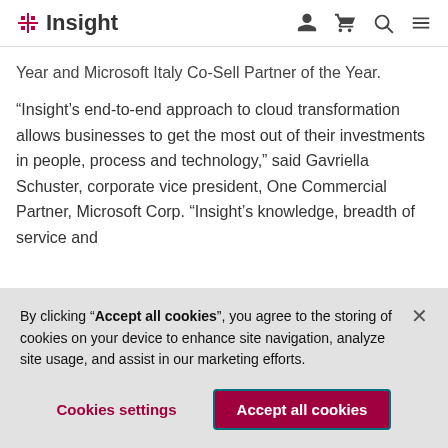Insight [logo with nav icons: user, cart, search, menu]
Year and Microsoft Italy Co-Sell Partner of the Year.
“Insight’s end-to-end approach to cloud transformation allows businesses to get the most out of their investments in people, process and technology,” said Gavriella Schuster, corporate vice president, One Commercial Partner, Microsoft Corp. “Insight’s knowledge, breadth of service and
By clicking “Accept all cookies”, you agree to the storing of cookies on your device to enhance site navigation, analyze site usage, and assist in our marketing efforts.
Cookies settings
Accept all cookies